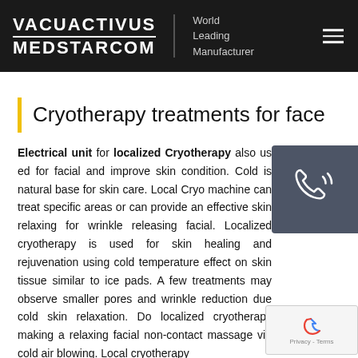VACUACTIVUS MEDSTARCOM World Leading Manufacturer
Cryotherapy treatments for face
Electrical unit for localized Cryotherapy also used for facial and improve skin condition. Cold is natural b... for skin care. Local Cryo machine can treat specific... or can provide an effective skin relaxing for wrinkle releasing facial. Localized cryotherapy is used for skin healing and rejuvenation using cold temperature effect on skin tissue similar to ice pads. A few treatments may observe smaller pores and wrinkle reduction due cold skin relaxation. ... localized cryotherapy making a relaxing facial no... massage via cold air blowing. Local cryotherapy...